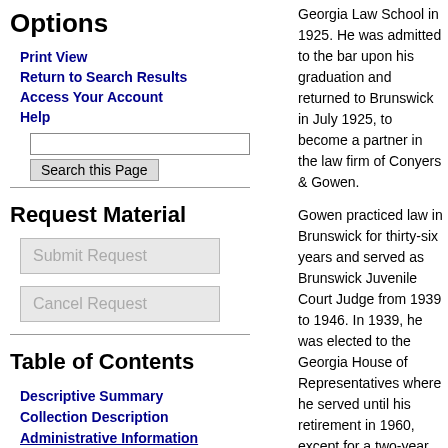Options
Print View
Return to Search Results
Access Your Account
Help
Request Material
Table of Contents
Descriptive Summary
Collection Description
Administrative Information
Georgia Law School in 1925. He was admitted to the bar upon his graduation and returned to Brunswick in July 1925, to become a partner in the law firm of Conyers & Gowen.
Gowen practiced law in Brunswick for thirty-six years and served as Brunswick Juvenile Court Judge from 1939 to 1946. In 1939, he was elected to the Georgia House of Representatives where he served until his retirement in 1960, except for a two-year absence when he ran an unsuccessful race for governor of Georgia in 1954 against Samuel Marvin Griffin. While in the legislature, he was a chairman of both the Appropriations and Judiciary Committees and a member of the 1945 State Constitution Revision Committee. He was elected